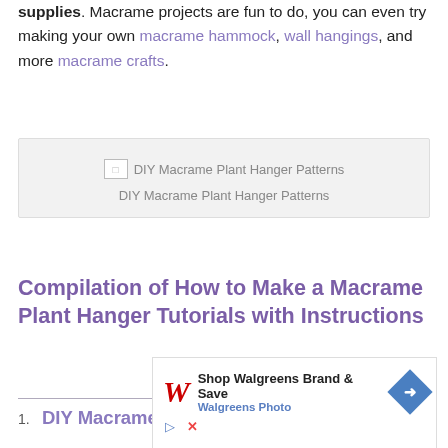supplies. Macrame projects are fun to do, you can even try making your own macrame hammock, wall hangings, and more macrame crafts.
[Figure (other): Broken image placeholder for 'DIY Macrame Plant Hanger Patterns' with caption below]
DIY Macrame Plant Hanger Patterns
Compilation of How to Make a Macrame Plant Hanger Tutorials with Instructions
1. DIY Macrame Plant Hanger
[Figure (other): Walgreens advertisement: Shop Walgreens Brand & Save, Walgreens Photo]